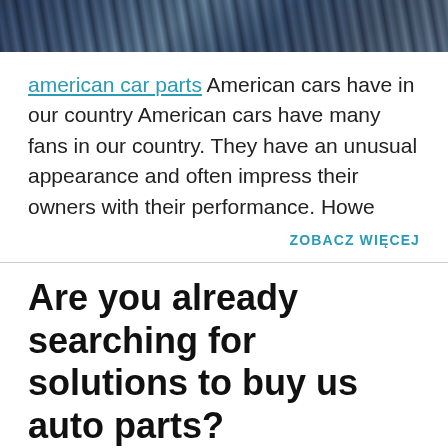[Figure (photo): Aerial photo of cars or city streets, partially cropped at top]
american car parts American cars have in our country American cars have many fans in our country. They have an unusual appearance and often impress their owners with their performance. Howe
ZOBACZ WIĘCEJ
Are you already searching for solutions to buy us auto parts?
Dodane: 02:36 08.01.2022